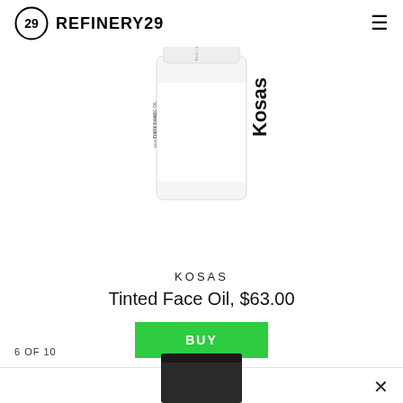REFINERY29
[Figure (photo): White cylindrical bottle of Kosas Tinted Face Oil with black label text, on white background]
KOSAS
Tinted Face Oil, $63.00
BUY
6 OF 10
[Figure (photo): Dark/black square cosmetic product partially visible at bottom of page]